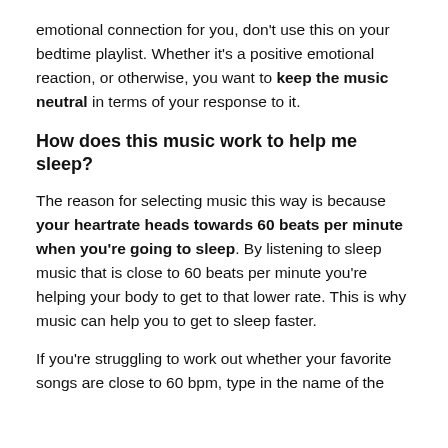emotional connection for you, don't use this on your bedtime playlist. Whether it's a positive emotional reaction, or otherwise, you want to keep the music neutral in terms of your response to it.
How does this music work to help me sleep?
The reason for selecting music this way is because your heartrate heads towards 60 beats per minute when you're going to sleep. By listening to sleep music that is close to 60 beats per minute you're helping your body to get to that lower rate. This is why music can help you to get to sleep faster.
If you're struggling to work out whether your favorite songs are close to 60 bpm, type in the name of the